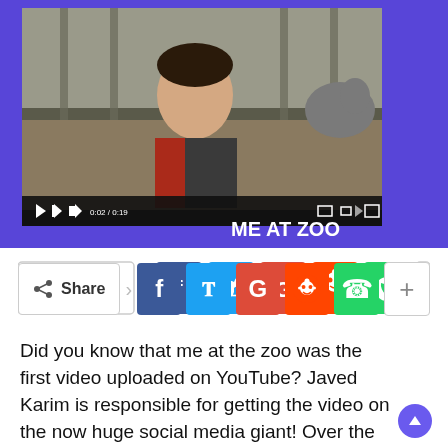[Figure (screenshot): YouTube video player showing a young man at a zoo with elephants in the background. Video title is 'ME AT ZOO'. Player controls visible at bottom.]
[Figure (infographic): Social sharing bar with Share button, Facebook, Twitter, Google+, Reddit, WhatsApp, and more (+) buttons.]
Did you know that me at the zoo was the first video uploaded on YouTube? Javed Karim is responsible for getting the video on the now huge social media giant! Over the years, the video became viral and received lots of love